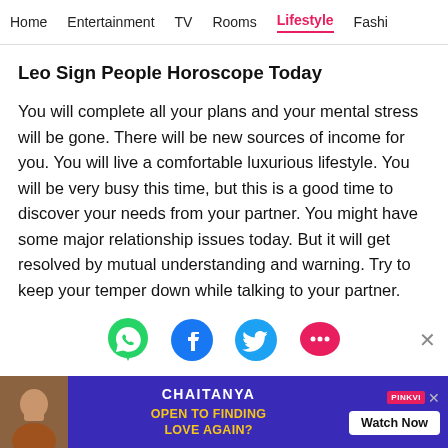Home  Entertainment  TV  Rooms  Lifestyle  Fashi
Leo Sign People Horoscope Today
You will complete all your plans and your mental stress will be gone. There will be new sources of income for you. You will live a comfortable luxurious lifestyle. You will be very busy this time, but this is a good time to discover your needs from your partner. You might have some major relationship issues today. But it will get resolved by mutual understanding and warning. Try to keep your temper down while talking to your partner.
[Figure (other): Social share icons: WhatsApp (green), Facebook (blue), Twitter (cyan), More/chat (pink)]
[Figure (other): Advertisement banner for 'Chaitanya - Open to Finding Love Again?' with Watch Now button and PinkVilla branding]